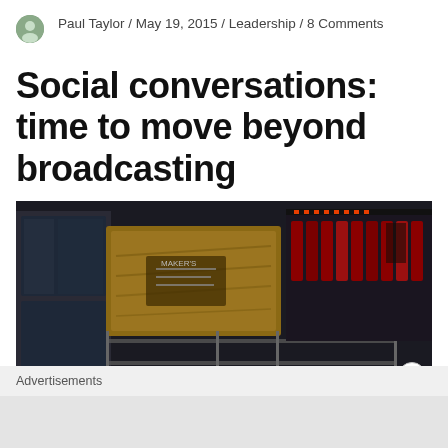Paul Taylor / May 19, 2015 / Leadership / 8 Comments
Social conversations: time to move beyond broadcasting
[Figure (photo): Dark photograph of wire shelving racks in a storage or bar area, with wooden crates and various items on the shelves]
Advertisements